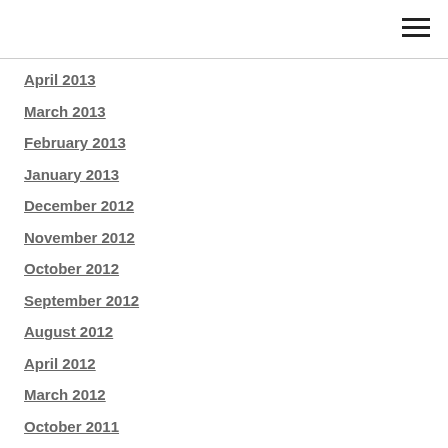April 2013
March 2013
February 2013
January 2013
December 2012
November 2012
October 2012
September 2012
August 2012
April 2012
March 2012
October 2011
September 2011
Categories
All